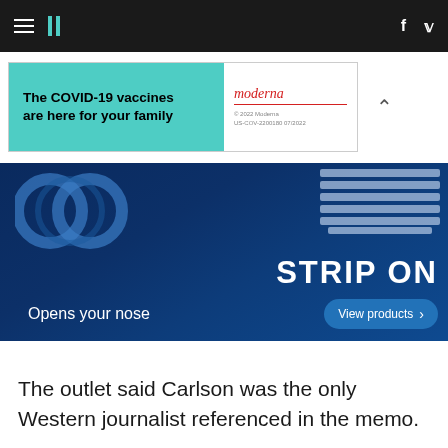HuffPost navigation with hamburger menu, logo, Facebook and Twitter icons
[Figure (other): Moderna COVID-19 vaccine advertisement banner: 'The COVID-19 vaccines are here for your family' on teal background with Moderna logo]
[Figure (other): Breathe Right 'Strip On' advertisement: dark blue background with nasal strip product imagery, text 'Opens your nose', 'STRIP ON', and 'View products' button]
The outlet said Carlson was the only Western journalist referenced in the memo.